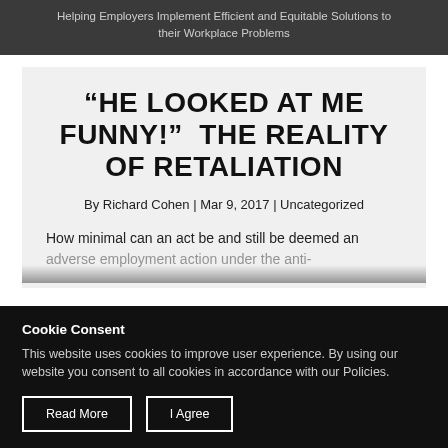Helping Employers Implement Efficient and Equitable Solutions to their Workplace Problems
“HE LOOKED AT ME FUNNY!”  THE REALITY OF RETALIATION
By Richard Cohen | Mar 9, 2017 | Uncategorized
How minimal can an act be and still be deemed an adverse employment action under the anti-
Cookie Consent
This website uses cookies to improve user experience. By using our website you consent to all cookies in accordance with our Policies.
Read More | I Agree